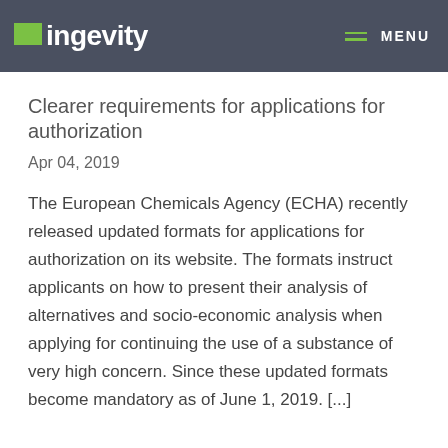ingevity | MENU
Clearer requirements for applications for authorization
Apr 04, 2019
The European Chemicals Agency (ECHA) recently released updated formats for applications for authorization on its website. The formats instruct applicants on how to present their analysis of alternatives and socio-economic analysis when applying for continuing the use of a substance of very high concern. Since these updated formats become mandatory as of June 1, 2019. [...]